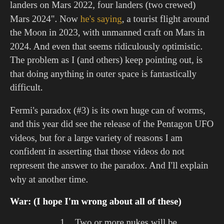landers on Mars 2022, four landers (two crewed) Mars 2024". Now he's saying, a tourist flight around the Moon in 2023, with unmanned craft on Mars in 2024. And even that seems ridiculously optimistic. The problem as I (and others) keep pointing out, is that doing anything in outer space is fantastically difficult.
Fermi's paradox (#3) is its own huge can of worms, and this year did see the release of the Pentagon UFO videos, but for a large variety of reasons I am confident in asserting that those videos do not represent the answer to the paradox. And I'll explain why at another time.
War: (I hope I'm wrong about all of these)
Two or more nukes will be exploded in anger within 30 days of one another.